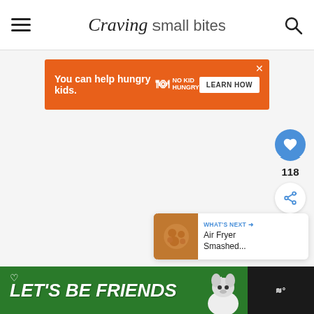Craving small bites
[Figure (infographic): Orange advertisement banner: 'You can help hungry kids. NO KID HUNGRY. LEARN HOW']
[Figure (infographic): Floating blue heart button with like count 118, and white share button]
[Figure (infographic): What's Next card: Air Fryer Smashed... with food thumbnail]
[Figure (infographic): Green bottom banner: LET'S BE FRIENDS with dog image and dark right panel with wave icon]